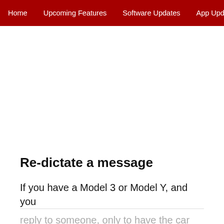Home | Upcoming Features | Software Updates | App Update
Re-dictate a message
If you have a Model 3 or Model Y, and you reply to someone, only to have the car not understand what you said, you can